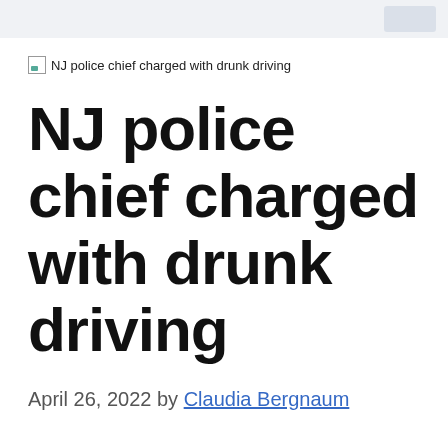NJ police chief charged with drunk driving
NJ police chief charged with drunk driving
April 26, 2022 by Claudia Bergnaum